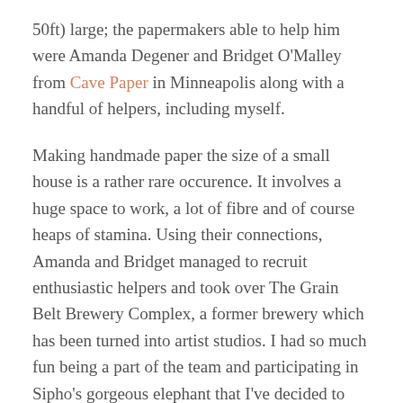50ft) large; the papermakers able to help him were Amanda Degener and Bridget O'Malley from Cave Paper in Minneapolis along with a handful of helpers, including myself.
Making handmade paper the size of a small house is a rather rare occurence. It involves a huge space to work, a lot of fibre and of course heaps of stamina. Using their connections, Amanda and Bridget managed to recruit enthusiastic helpers and took over The Grain Belt Brewery Complex, a former brewery which has been turned into artist studios. I had so much fun being a part of the team and participating in Sipho's gorgeous elephant that I've decided to share the process with you.
18 sheets of paper measuring 5m(17ft) x 2.5m(8.5ft) were individually made and assembled into 6 strips. The strips